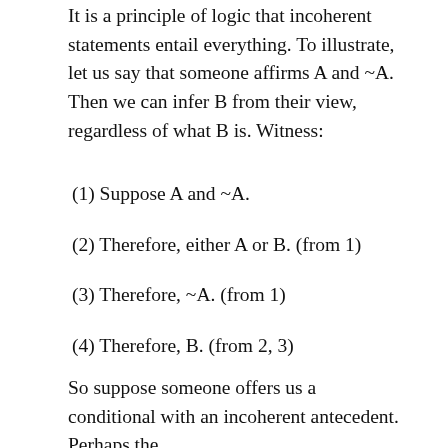It is a principle of logic that incoherent statements entail everything. To illustrate, let us say that someone affirms A and ~A. Then we can infer B from their view, regardless of what B is. Witness:
(1) Suppose A and ~A.
(2) Therefore, either A or B. (from 1)
(3) Therefore, ~A. (from 1)
(4) Therefore, B. (from 2, 3)
So suppose someone offers us a conditional with an incoherent antecedent. Perhaps the